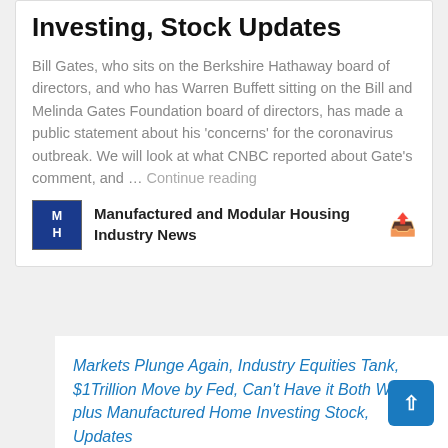Investing, Stock Updates
Bill Gates, who sits on the Berkshire Hathaway board of directors, and who has Warren Buffett sitting on the Bill and Melinda Gates Foundation board of directors, has made a public statement about his 'concerns' for the coronavirus outbreak. We will look at what CNBC reported about Gate's comment, and … Continue reading
Manufactured and Modular Housing Industry News
Markets Plunge Again, Industry Equities Tank, $1Trillion Move by Fed, Can't Have it Both Ways; plus Manufactured Home Investing Stock, Updates